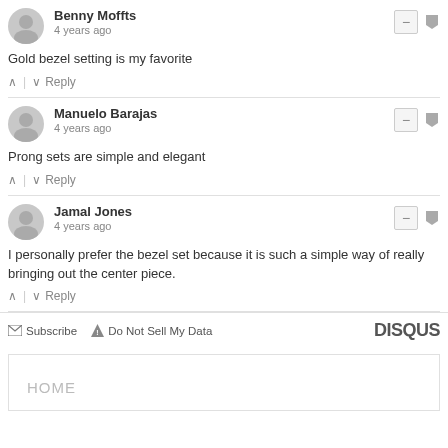Benny Moffts — 4 years ago
Gold bezel setting is my favorite
Manuelo Barajas — 4 years ago
Prong sets are simple and elegant
Jamal Jones — 4 years ago
I personally prefer the bezel set because it is such a simple way of really bringing out the center piece.
Subscribe   Do Not Sell My Data   DISQUS
HOME